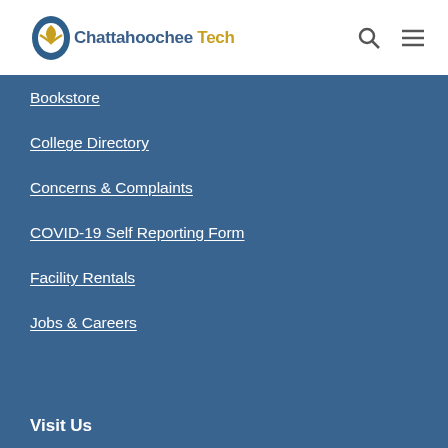Chattahoochee Tech
Bookstore
College Directory
Concerns & Complaints
COVID-19 Self Reporting Form
Facility Rentals
Jobs & Careers
Visit Us